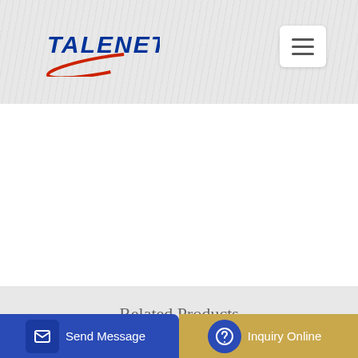[Figure (logo): TALENET company logo with blue italic text and red ellipse arc underneath]
Related Products
20 meter zfold concrete boom pump concrete pumps
Biggest Engine For Concrete Mixer Wholesale Suppliers in
Send Message
Inquiry Online